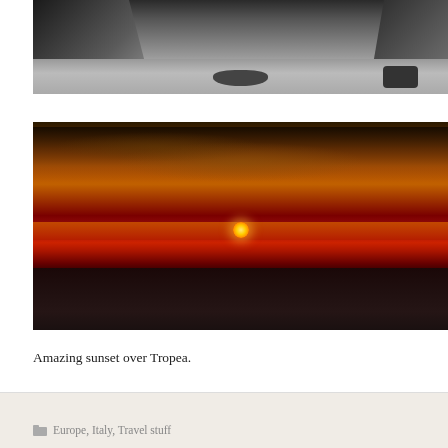[Figure (photo): Black and white photograph of a rocky cliff beach scene with a boat on the sand and a cart visible on the right side]
[Figure (photo): Dramatic sunset photograph over Tropea showing a deep red and orange sky with clouds, the sun sitting just above the horizon over dark sea water]
Amazing sunset over Tropea.
Europe, Italy, Travel stuff